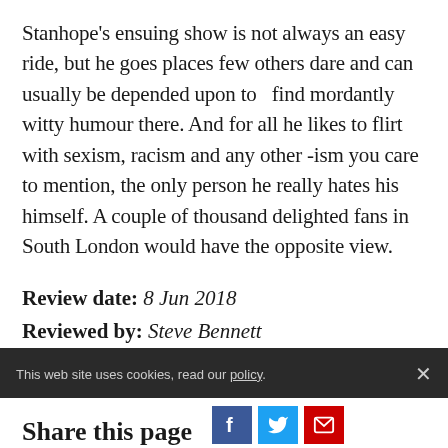Stanhope's ensuing show is not always an easy ride, but he goes places few others dare and can usually be depended upon to   find mordantly witty humour there. And for all he likes to flirt with sexism, racism and any other -ism you care to mention, the only person he really hates his himself. A couple of thousand delighted fans in South London would have the opposite view.
Review date: 8 Jun 2018
Reviewed by: Steve Bennett
Reviewed at: Brixton Academy
This web site uses cookies, read our policy.
Share this page